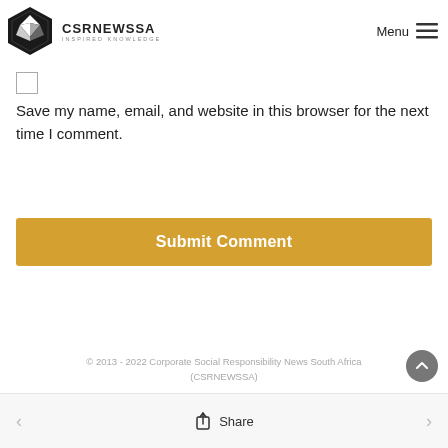CSRNEWSSA INSPIRED KNOWLEDGE | Menu
Save my name, email, and website in this browser for the next time I comment.
Submit Comment
© 2013 - 2022 Corporate Social Responsibility News South Africa (CSRNEWSSA)